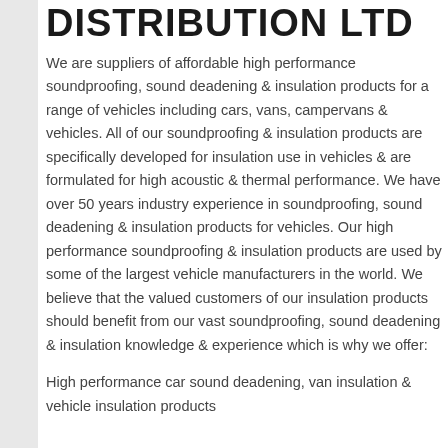DISTRIBUTION LTD
We are suppliers of affordable high performance soundproofing, sound deadening & insulation products for a range of vehicles including cars, vans, campervans & vehicles. All of our soundproofing & insulation products are specifically developed for insulation use in vehicles & are formulated for high acoustic & thermal performance. We have over 50 years industry experience in soundproofing, sound deadening & insulation products for vehicles. Our high performance soundproofing & insulation products are used by some of the largest vehicle manufacturers in the world. We believe that the valued customers of our insulation products should benefit from our vast soundproofing, sound deadening & insulation knowledge & experience which is why we offer:
High performance car sound deadening, van insulation & vehicle insulation products